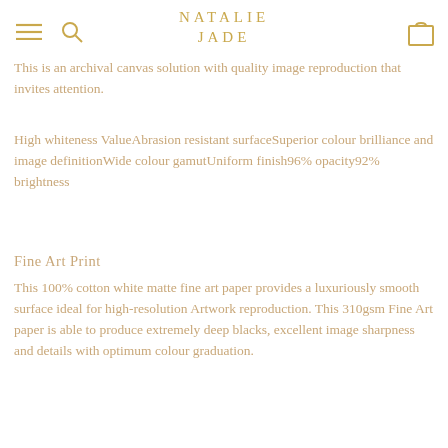NATALIE JADE
This is an archival canvas solution with quality image reproduction that invites attention.
High whiteness ValueAbrasion resistant surfaceSuperior colour brilliance and image definitionWide colour gamutUniform finish96% opacity92% brightness
Fine Art Print
This 100% cotton white matte fine art paper provides a luxuriously smooth surface ideal for high-resolution Artwork reproduction. This 310gsm Fine Art paper is able to produce extremely deep blacks, excellent image sharpness and details with optimum colour graduation.